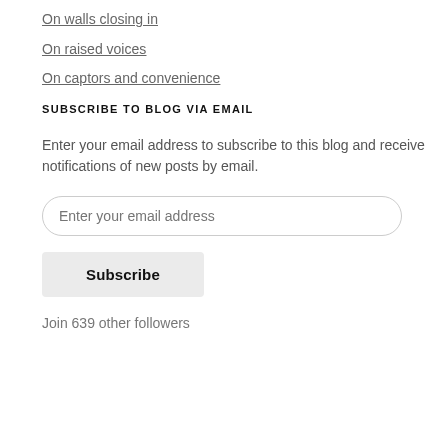On walls closing in
On raised voices
On captors and convenience
SUBSCRIBE TO BLOG VIA EMAIL
Enter your email address to subscribe to this blog and receive notifications of new posts by email.
Enter your email address
Subscribe
Join 639 other followers